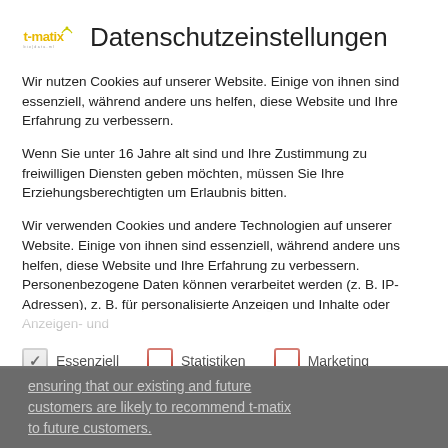[Figure (logo): t-matix logo with wireless signal icon and tagline]
Datenschutzeinstellungen
Wir nutzen Cookies auf unserer Website. Einige von ihnen sind essenziell, während andere uns helfen, diese Website und Ihre Erfahrung zu verbessern.
Wenn Sie unter 16 Jahre alt sind und Ihre Zustimmung zu freiwilligen Diensten geben möchten, müssen Sie Ihre Erziehungsberechtigten um Erlaubnis bitten.
Wir verwenden Cookies und andere Technologien auf unserer Website. Einige von ihnen sind essenziell, während andere uns helfen, diese Website und Ihre Erfahrung zu verbessern. Personenbezogene Daten können verarbeitet werden (z. B. IP-Adressen), z. B. für personalisierte Anzeigen und Inhalte oder Anzeigen- und
Essenziell (checked)
Statistiken
Marketing
Externe Medien
ensuring that our existing and future customers are likely to recommend t-matix to future customers.